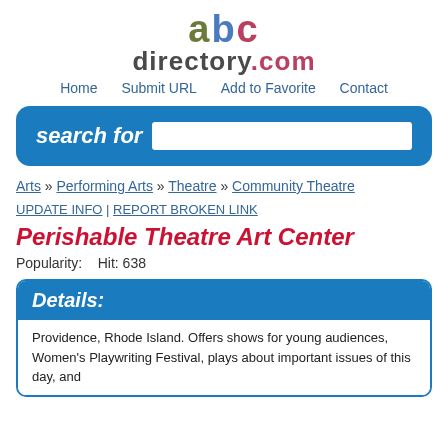[Figure (logo): abcdirectory.com logo with stylized colored letters]
Home | Submit URL | Add to Favorite | Contact
[Figure (other): Search bar with 'search for' label and input field]
Arts » Performing Arts » Theatre » Community Theatre
UPDATE INFO | REPORT BROKEN LINK
Perishable Theatre Art Center
Popularity:   Hit: 638
Details:
Providence, Rhode Island. Offers shows for young audiences, Women's Playwriting Festival, plays about important issues of this day, and